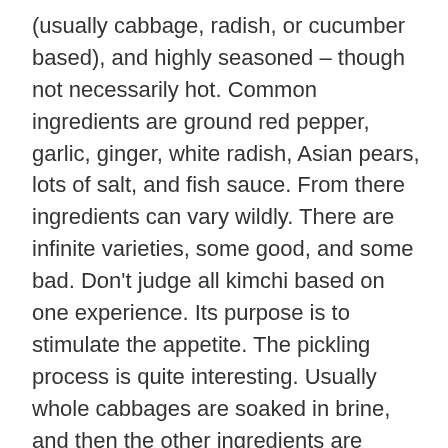(usually cabbage, radish, or cucumber based), and highly seasoned – though not necessarily hot. Common ingredients are ground red pepper, garlic, ginger, white radish, Asian pears, lots of salt, and fish sauce. From there ingredients can vary wildly. There are infinite varieties, some good, and some bad. Don't judge all kimchi based on one experience. Its purpose is to stimulate the appetite. The pickling process is quite interesting. Usually whole cabbages are soaked in brine, and then the other ingredients are placed between each of the cabbage leaves. Some traditional methods call for placing it in large earthenware jars, burying it in the ground, and letting it ferment for long periods of time, though some people prefer it fresh. I had a Korean roommate in college who lived on kimchi. Our apartment smelled so bad I made him keep it on the back porch.
Like most Asian cuisines, everything has its proper